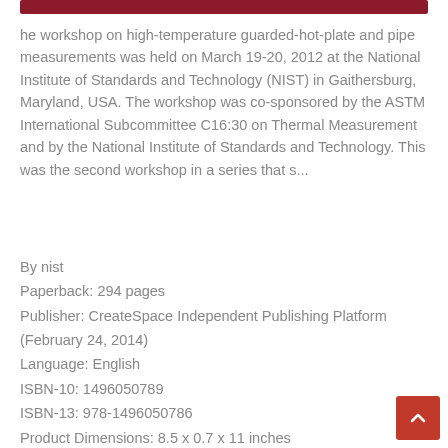he workshop on high-temperature guarded-hot-plate and pipe measurements was held on March 19-20, 2012 at the National Institute of Standards and Technology (NIST) in Gaithersburg, Maryland, USA. The workshop was co-sponsored by the ASTM International Subcommittee C16:30 on Thermal Measurement and by the National Institute of Standards and Technology. This was the second workshop in a series that s...
By nist
Paperback: 294 pages
Publisher: CreateSpace Independent Publishing Platform (February 24, 2014)
Language: English
ISBN-10: 1496050789
ISBN-13: 978-1496050786
Product Dimensions: 8.5 x 0.7 x 11 inches
Format: PDF ePub TXT ebook